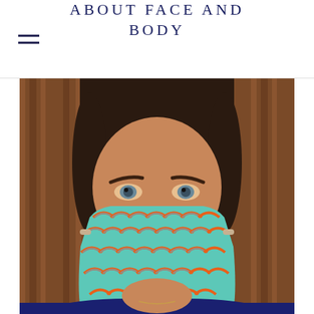ABOUT FACE AND BODY
[Figure (photo): Close-up selfie of a woman with dark hair wearing a colorful teal/turquoise fabric face mask with an orange and grey scallop/rainbow pattern, against a wooden panel background. She is wearing a dark navy top.]